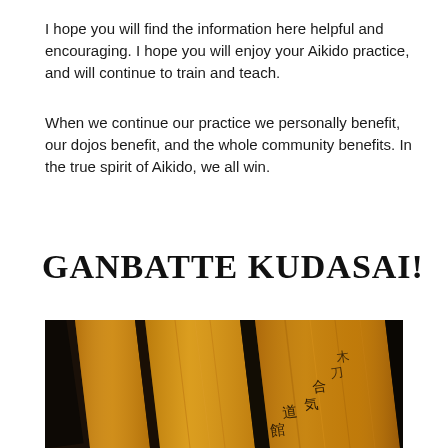I hope you will find the information here helpful and encouraging. I hope you will enjoy your Aikido practice, and will continue to train and teach.
When we continue our practice we personally benefit, our dojos benefit, and the whole community benefits. In the true spirit of Aikido, we all win.
GANBATTE KUDASAI!
[Figure (photo): Close-up photograph of wooden bokken (practice swords) with Japanese kanji characters inscribed on the wood grain surface, dark background]